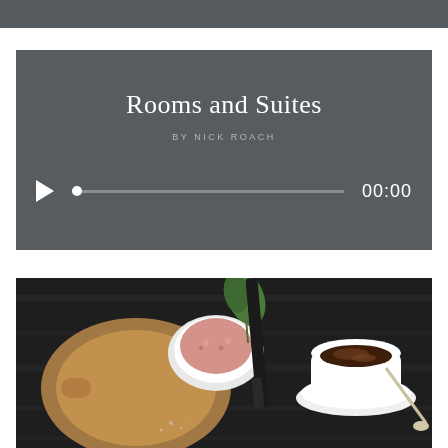[Figure (screenshot): Dark grey top bar strip at the top of the page]
[Figure (screenshot): Audio player widget with dark grey background showing title 'Rooms and Suites' by Nick Roach, with play button, progress bar, and time display showing 00:00]
Rooms and Suites
BY NICK ROACH
00:00
[Figure (photo): Overhead food photography on dark wood table showing a wooden cutting board, a small white bowl with pink himalayan salt, a green herb/leaf, a black knife, and a white cup and saucer with espresso/coffee]